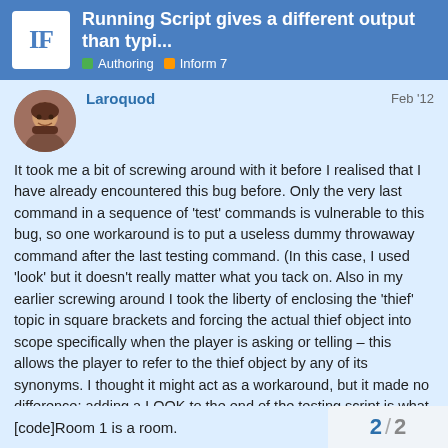Running Script gives a different output than typi... | Authoring | Inform 7
Laroquod
Feb '12
It took me a bit of screwing around with it before I realised that I have already encountered this bug before. Only the very last command in a sequence of 'test' commands is vulnerable to this bug, so one workaround is to put a useless dummy throwaway command after the last testing command. (In this case, I used 'look' but it doesn't really matter what you tack on. Also in my earlier screwing around I took the liberty of enclosing the 'thief' topic in square brackets and forcing the actual thief object into scope specifically when the player is asking or telling – this allows the player to refer to the thief object by any of its synonyms. I thought it might act as a workaround, but it made no difference: adding a LOOK to the end of the testing script is what did the trick here.)
[code]Room 1 is a room.
2 / 2